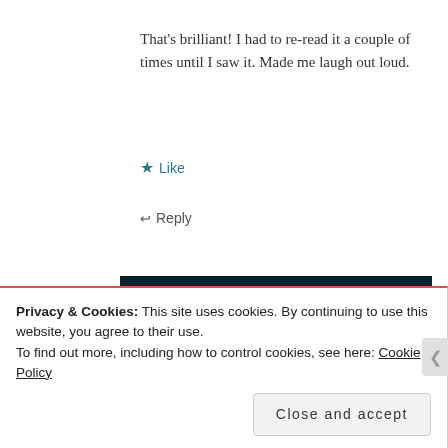That's brilliant! I had to re-read it a couple of times until I saw it. Made me laugh out loud.
★ Like
↩ Reply
[Figure (illustration): Dark navy advertisement banner with white text reading 'Opinions. We all have them!' with a pink/red bar and white circle at the bottom.]
Privacy & Cookies: This site uses cookies. By continuing to use this website, you agree to their use.
To find out more, including how to control cookies, see here: Cookie Policy
Close and accept